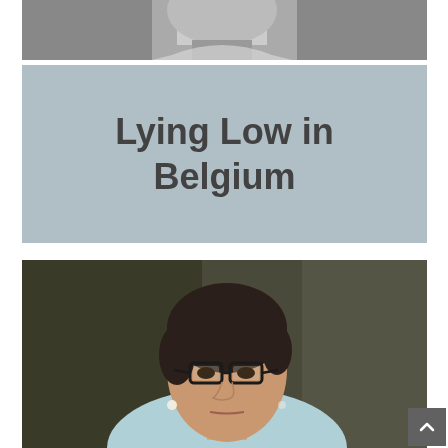[Figure (photo): Black and white photo, partial view of a person, cropped at top of page]
Lying Low in Belgium
[Figure (photo): Color photo of a middle-aged woman with short dark hair, wearing glasses and a light blue top, with pearl earrings, looking slightly downward]